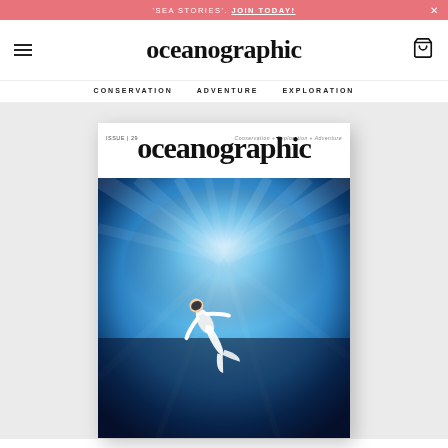'SEA STORIES'. JOIN TODAY!
oceanographic
CONSERVATION   ADVENTURE   EXPLORATION
[Figure (illustration): Oceanographic magazine cover showing a freediver in a white wetsuit swimming diagonally against a dramatic blue ocean background with radiating light rays. Text reads 'ISSUE | 29' and 'Conservation + Exploration + Adventure' with large 'oceanographic' logo at top.]